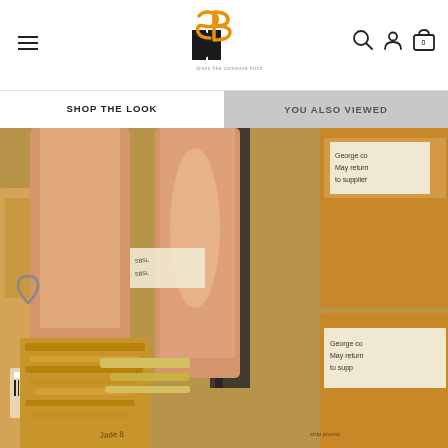DLSB navigation header with hamburger menu, logo, search, account, and cart icons
SHOP THE LOOK | YOU ALSO VIEWED
[Figure (photo): Close-up photo of a person's legs/feet wearing gold strappy sandals with ankle bracelets, surrounded by cardboard shipping boxes in a warehouse setting]